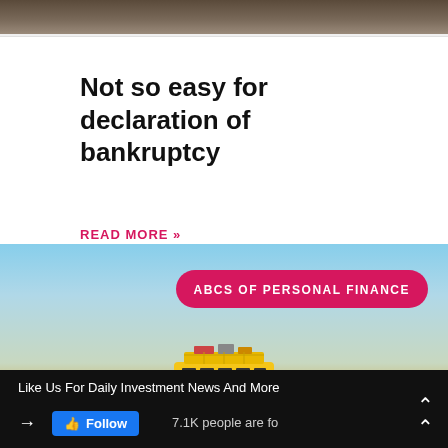[Figure (photo): Top image strip showing brown/tan textured surface, partially cropped]
Not so easy for declaration of bankruptcy
READ MORE »
[Figure (photo): Light blue sky and beach scene with a yellow toy bus in the foreground, with a pink badge overlay reading ABCS OF PERSONAL FINANCE]
Like Us For Daily Investment News And More  →  Follow  7.1K people are fo  ^^